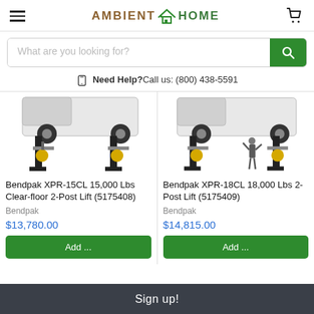AMBIENT HOME - Navigation header with hamburger menu, logo, and cart icon
What are you looking for?
Need Help? Call us: (800) 438-5591
[Figure (photo): Bendpak XPR-15CL two-post vehicle lift with truck raised]
Bendpak XPR-15CL 15,000 Lbs Clear-floor 2-Post Lift (5175408)
Bendpak
$13,780.00
[Figure (photo): Bendpak XPR-18CL two-post vehicle lift with truck raised and mechanic standing]
Bendpak XPR-18CL 18,000 Lbs 2-Post Lift (5175409)
Bendpak
$14,815.00
Sign up!